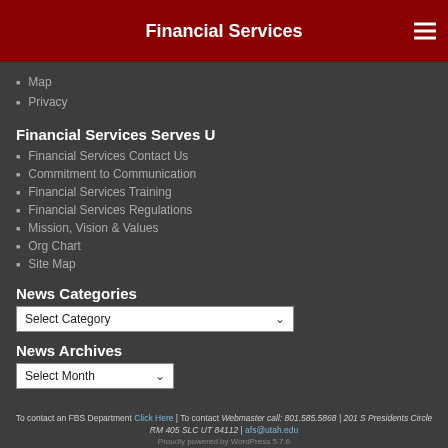Financial Services
Map
Privacy
Financial Services Serves U
Financial Services Contact Us
Commitment to Communication
Financial Services Training
Financial Services Regulations
Mission, Vision & Values
Org Chart
Site Map
News Categories
Select Category
News Archives
Select Month
To contact an FBS Department Click Here | To contact Webmaster call: 801.585.5868 | 201 S Presidents Circle RM 405 SLC UT 84112 | afs@utah.edu Proudly powered by WordPress 5.7.6